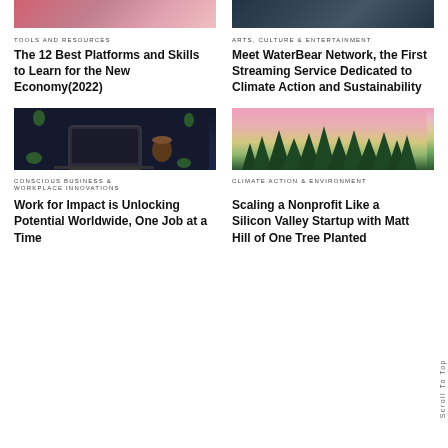[Figure (photo): Partial image top left - pink and anime style illustration cropped at top]
[Figure (photo): Partial image top right - dark digital/tech themed image cropped at top]
TOOLS AND RESOURCES
ARTS, CULTURE & ENTERTAINMENT
The 12 Best Platforms and Skills to Learn for the New Economy(2022)
Meet WaterBear Network, the First Streaming Service Dedicated to Climate Action and Sustainability
[Figure (photo): Overhead flat lay photo of laptop, coffee cup, and succulents on dark navy background]
[Figure (photo): Pink to yellow gradient sky above silhouette of pine tree forest]
CONSCIOUS BUSINESS & WORKPLACE INNOVATIONS
CLIMATE ACTION & ENVIRONMENT
Work for Impact is Unlocking Potential Worldwide, One Job at a Time
Scaling a Nonprofit Like a Silicon Valley Startup with Matt Hill of One Tree Planted
Scroll To Top